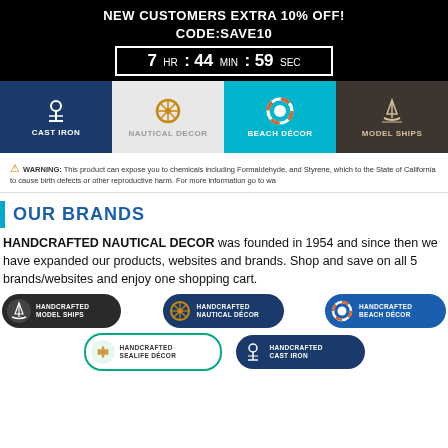NEW CUSTOMERS EXTRA 10% OFF!
CODE:SAVE10
7 HR : 44 MIN : 59 SEC
[Figure (infographic): Navigation bar with four categories: CAST IRON (anchor icon, dark blue), NAUTICAL DECOR (ship wheel icon, light grey), BEACH DÉCOR (life ring icon, cyan/teal, active), MODEL SHIPS (sailboat icon, dark brown)]
WARNING: This product can expose you to chemicals including Formaldehyde, and Styrene, which to the State of California to cause birth defects or other reproductive harm. For more information go to wa
OUR BRANDS
HANDCRAFTED NAUTICAL DECOR was founded in 1954 and since then we have expanded our products, websites and brands. Shop and save on all 5 brands/websites and enjoy one shopping cart.
[Figure (logo): Five brand logos: HANDCRAFTED MODEL SHIPS (dark pill), HANDCRAFTED NAUTICAL DÉCOR (navy pill), HANDCRAFTED BEACH DÉCOR (blue pill), HANDCRAFTED SEALIFE DÉCOR (white/teal pill), HANDCRAFTED CAST IRON (navy pill)]